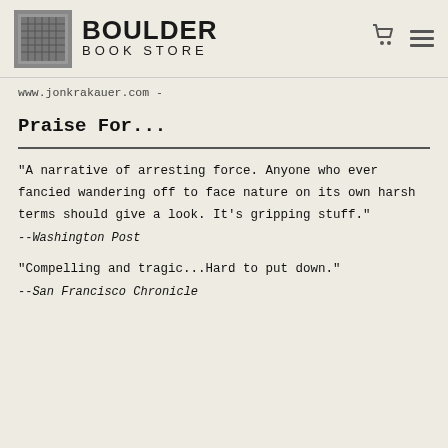BOULDER BOOK STORE
www.jonkrakauer.com -
Praise For...
"A narrative of arresting force.  Anyone who ever fancied wandering off to face nature on its own harsh terms should give a look.  It's gripping stuff." --Washington Post
"Compelling and tragic...Hard to put down." --San Francisco Chronicle